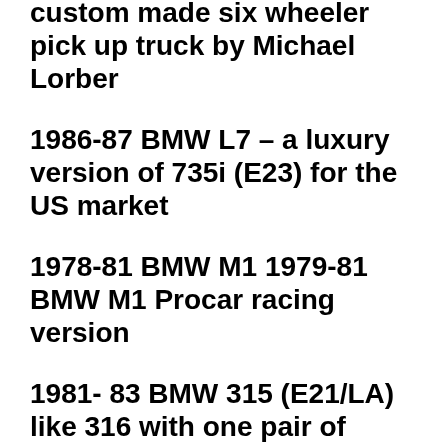custom made six wheeler pick up truck by Michael Lorber
1986-87 BMW L7 – a luxury version of 735i (E23) for the US market
1978-81 BMW M1 1979-81 BMW M1 Procar racing version
1981- 83 BMW 315 (E21/LA) like 316 with one pair of lamps > see more above